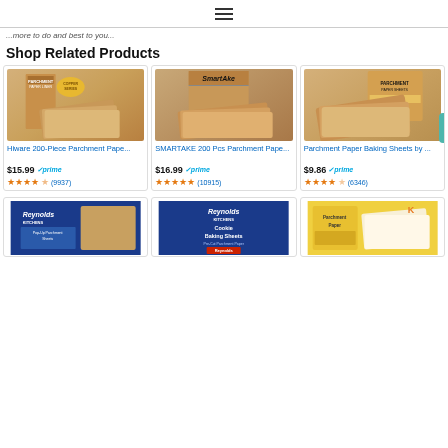Navigation menu
...more to do and best to you...
Shop Related Products
[Figure (photo): Hiware 200-Piece Parchment Paper product image showing box and folded brown parchment sheets]
Hiware 200-Piece Parchment Pape...
$15.99 prime (9937)
[Figure (photo): SMARTAKE 200 Pcs Parchment Paper product image showing box and layered brown parchment sheets]
SMARTAKE 200 Pcs Parchment Pape...
$16.99 prime (10915)
[Figure (photo): Parchment Paper Baking Sheets product image showing box and brown parchment sheets]
Parchment Paper Baking Sheets by ...
$9.86 prime (6346)
[Figure (photo): Reynolds Kitchens Pop-Up Parchment Sheets product image with blue packaging]
[Figure (photo): Reynolds Kitchens Cookie Baking Sheets Pre-Cut Parchment Paper product image with blue packaging]
[Figure (photo): Parchment Paper product image with yellow packaging]